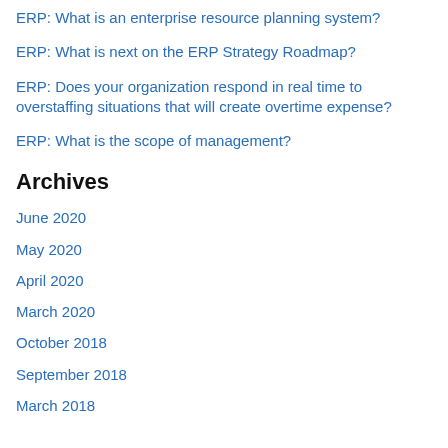ERP: What is an enterprise resource planning system?
ERP: What is next on the ERP Strategy Roadmap?
ERP: Does your organization respond in real time to overstaffing situations that will create overtime expense?
ERP: What is the scope of management?
Archives
June 2020
May 2020
April 2020
March 2020
October 2018
September 2018
March 2018